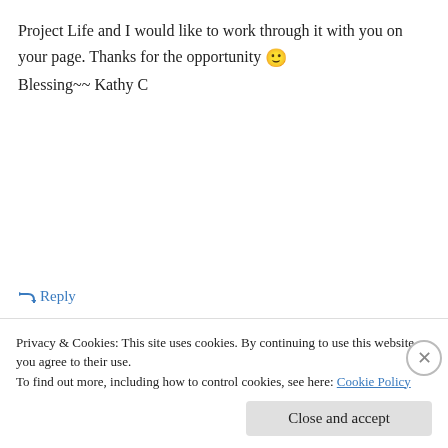Project Life and I would like to work through it with you on your page. Thanks for the opportunity 🙂
Blessings~~ Kathy C
↳ Reply
kathygayhartcarter on June 21, 2013 at 7:10 pm
And I also am a huge fan of
Privacy & Cookies: This site uses cookies. By continuing to use this website, you agree to their use.
To find out more, including how to control cookies, see here: Cookie Policy
Close and accept